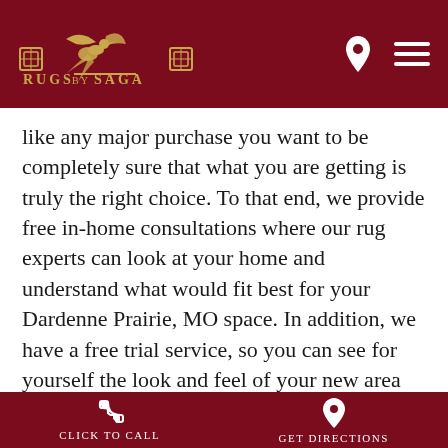Rugs by Saga
like any major purchase you want to be completely sure that what you are getting is truly the right choice. To that end, we provide free in-home consultations where our rug experts can look at your home and understand what would fit best for your Dardenne Prairie, MO space. In addition, we have a free trial service, so you can see for yourself the look and feel of your new area rug before you make a commitment. When you've finally chosen the perfect Indian rug, we will deliver it to your Dardenne Prairie home and install it in your desired room free of charge.
Click to Call | Get Directions